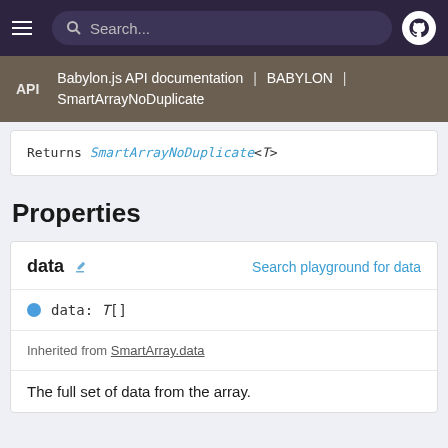Search...
Babylon.js API documentation | BABYLON | SmartArrayNoDuplicate
Returns SmartArrayNoDuplicate<T>
Properties
data 🔗   Search playground for data
data: T[]
Inherited from SmartArray.data
The full set of data from the array.